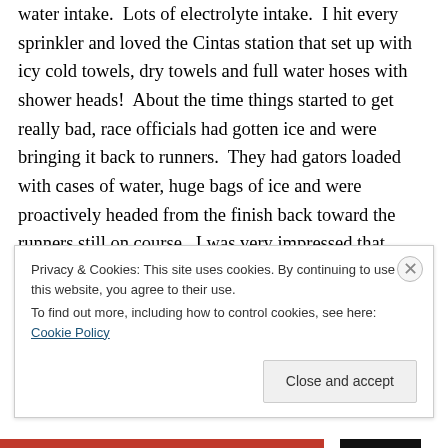water intake. Lots of electrolyte intake. I hit every sprinkler and loved the Cintas station that set up with icy cold towels, dry towels and full water hoses with shower heads! About the time things started to get really bad, race officials had gotten ice and were bringing it back to runners. They had gators loaded with cases of water, huge bags of ice and were proactively headed from the finish back toward the runners still on course. I was very impressed that although they had not planned for the higher temps, they were proactive and did what they could
Privacy & Cookies: This site uses cookies. By continuing to use this website, you agree to their use.
To find out more, including how to control cookies, see here: Cookie Policy